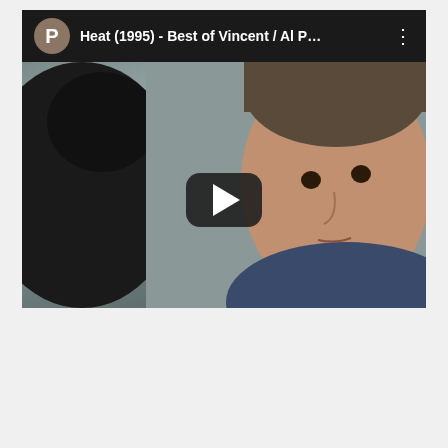[Figure (screenshot): YouTube-style video card showing a movie still from Heat (1995). Top bar is dark/black with a brownish-tan avatar circle with letter P, followed by the title 'Heat (1995) - Best of Vincent / Al P...' in white text and a three-dot menu icon. The thumbnail shows a film still with a dark silhouetted figure on the left and a man (Al Pacino) on the right with an intense expression wearing a blue jacket, against a grey background. A large play button (dark rounded rectangle with white triangle) is centered in the lower portion of the thumbnail. Below the video card is a partially visible advertisement area with a blurred/frosted content area and an X close button.]